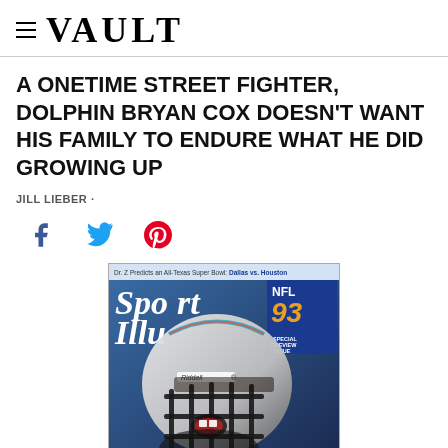VAULT
A ONETIME STREET FIGHTER, DOLPHIN BRYAN COX DOESN'T WANT HIS FAMILY TO ENDURE WHAT HE DID GROWING UP
JILL LIEBER ·
[Figure (illustration): Social media sharing icons: Facebook (f), Twitter (bird), Pinterest (p)]
[Figure (photo): Sports Illustrated magazine cover featuring NFL player Bryan Cox of the Miami Dolphins wearing a Riddell helmet with mouth open, NFL 93 Special Preview Issue, with text 'Dr. Z Predicts an All-Texas Super Bowl: Dallas vs. Houston']